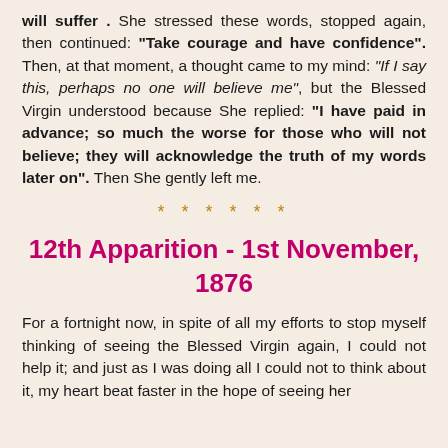will suffer. She stressed these words, stopped again, then continued: "Take courage and have confidence". Then, at that moment, a thought came to my mind: "If I say this, perhaps no one will believe me", but the Blessed Virgin understood because She replied: "I have paid in advance; so much the worse for those who will not believe; they will acknowledge the truth of my words later on". Then She gently left me.
* * * * * *
12th Apparition - 1st November, 1876
For a fortnight now, in spite of all my efforts to stop myself thinking of seeing the Blessed Virgin again, I could not help it; and just as I was doing all I could not to think about it, my heart beat faster in the hope of seeing her